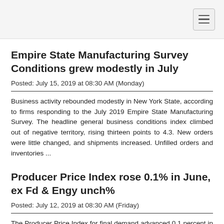Empire State Manufacturing Survey Conditions grew modestly in July
Posted: July 15, 2019 at 08:30 AM (Monday)
Business activity rebounded modestly in New York State, according to firms responding to the July 2019 Empire State Manufacturing Survey. The headline general business conditions index climbed out of negative territory, rising thirteen points to 4.3. New orders were little changed, and shipments increased. Unfilled orders and inventories ...
Producer Price Index rose 0.1% in June, ex Fd & Engy unch%
Posted: July 12, 2019 at 08:30 AM (Friday)
The Producer Price Index for final demand advanced 0.1 percent in June, seasonally adjusted, the U.S. Bureau of Labor Statistics reported today. Final demand prices moved up 0.1 percent in May